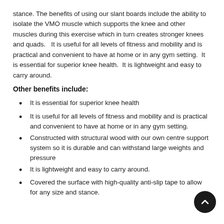stance. The benefits of using our slant boards include the ability to isolate the VMO muscle which supports the knee and other muscles during this exercise which in turn creates stronger knees and quads.   It is useful for all levels of fitness and mobility and is practical and convenient to have at home or in any gym setting.  It is essential for superior knee health.  It is lightweight and easy to carry around.
Other benefits include:
It is essential for superior knee health
It is useful for all levels of fitness and mobility and is practical and convenient to have at home or in any gym setting.
Constructed with structural wood with our own centre support system so it is durable and can withstand large weights and pressure
It is lightweight and easy to carry around.
Covered the surface with high-quality anti-slip tape to allow for any size and stance.